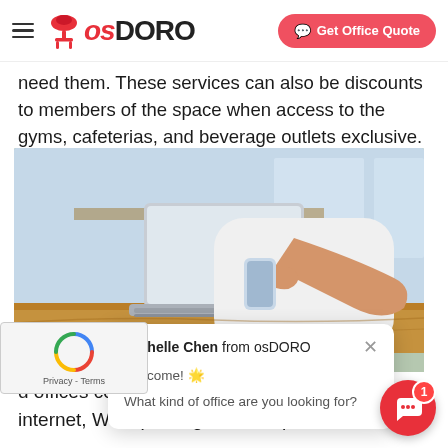osDORO — Get Office Quote
need them. These services can also be discounts to members of the space when access to the gyms, cafeterias, and beverage outlets exclusive.
[Figure (photo): A person in a white shirt using a smartphone while sitting at a wooden desk with a laptop, small potted plant in foreground. A chat popup overlay from Michelle Chen at osDORO is visible, with a reCAPTCHA widget in the bottom-left corner.]
d offices come standard with building acc internet, WiFi, printing and reception solutions.